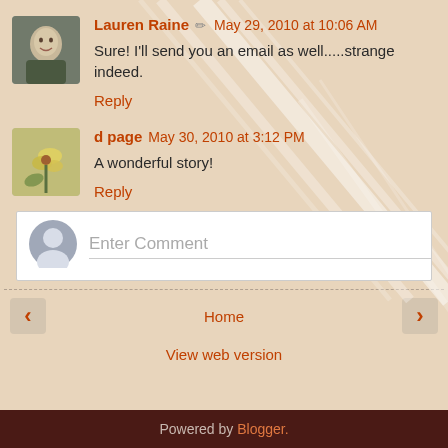Lauren Raine · May 29, 2010 at 10:06 AM
Sure! I'll send you an email as well.....strange indeed.
Reply
d page · May 30, 2010 at 3:12 PM
A wonderful story!
Reply
Enter Comment
Powered by Blogger.